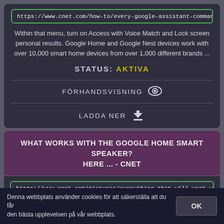https://www.cnet.com/how-to/every-google-assistant-command-for-your
Within that menu, turn on Access with Voice Match and Lock screen personal results. Google Home and Google Nest devices work with over 10,000 smart home devices from over 1,000 different brands ...
STATUS: AKTIVA
FÖRHANDSVISNING
LADDA NER
WHAT WORKS WITH THE GOOGLE HOME SMART SPEAKER? HERE ... - CNET
https://www.cnet.com/pictures/everything-that-will-work-with-google-h
With a built-in voice assistant, Google's Home and Home Mini smart
Denna webbplats använder cookies för att säkerställa att du får den bästa upplevelsen på vår webbplats.